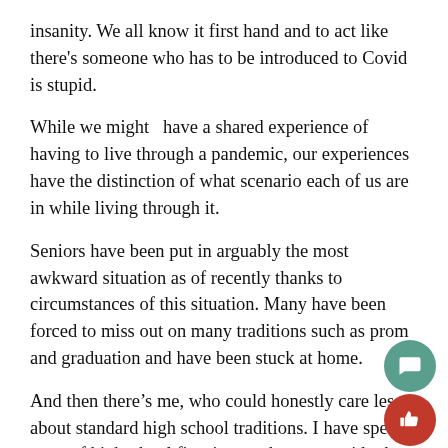insanity. We all know it first hand and to act like there's someone who has to be introduced to Covid is stupid.
While we might  have a shared experience of having to live through a pandemic, our experiences have the distinction of what scenario each of us are in while living through it.
Seniors have been put in arguably the most awkward situation as of recently thanks to circumstances of this situation. Many have been forced to miss out on many traditions such as prom and graduation and have been stuck at home.
And then there's me, who could honestly care less about standard high school traditions. I have spent most of highschool figuring out how to avoid other highschoolers and get by on the bare minimum. This pandemic for me felt like a fresh breath of relief at the beginning.
They didn't...